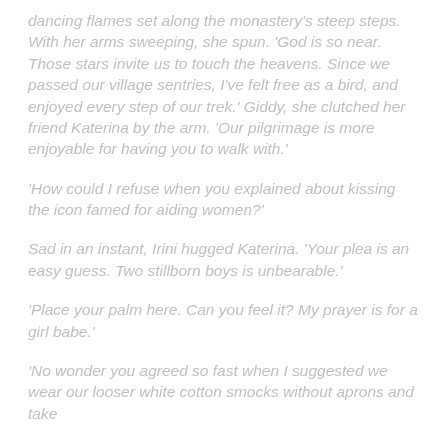dancing flames set along the monastery's steep steps. With her arms sweeping, she spun. 'God is so near. Those stars invite us to touch the heavens. Since we passed our village sentries, I've felt free as a bird, and enjoyed every step of our trek.' Giddy, she clutched her friend Katerina by the arm. 'Our pilgrimage is more enjoyable for having you to walk with.'
'How could I refuse when you explained about kissing the icon famed for aiding women?'
Sad in an instant, Irini hugged Katerina. 'Your plea is an easy guess. Two stillborn boys is unbearable.'
'Place your palm here. Can you feel it? My prayer is for a girl babe.'
'No wonder you agreed so fast when I suggested we wear our looser white cotton smocks without aprons and take